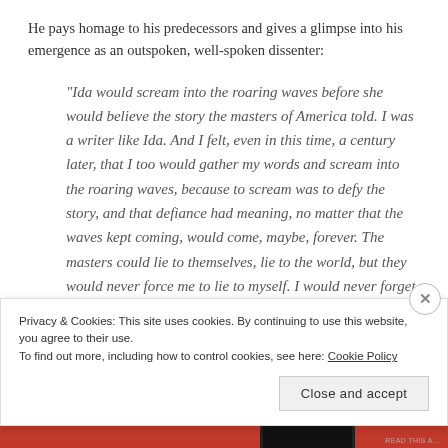He pays homage to his predecessors and gives a glimpse into his emergence as an outspoken, well-spoken dissenter:
“Ida would scream into the roaring waves before she would believe the story the masters of America told. I was a writer like Ida. And I felt, even in this time, a century later, that I too would gather my words and scream into the roaring waves, because to scream was to defy the story, and that defiance had meaning, no matter that the waves kept coming, would come, maybe, forever. The masters could lie to themselves, lie to the world, but they would never force me to lie to myself. I would never forget that
Privacy & Cookies: This site uses cookies. By continuing to use this website, you agree to their use.
To find out more, including how to control cookies, see here: Cookie Policy